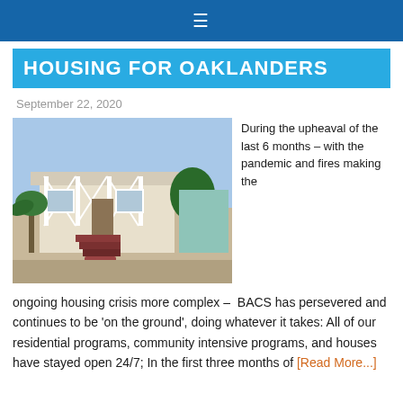≡
HOUSING FOR OAKLANDERS
September 22, 2020
[Figure (photo): Photo of a white single-story house with a covered porch, red brick walkway, and palm tree in front yard]
During the upheaval of the last 6 months – with the pandemic and fires making the ongoing housing crisis more complex – BACS has persevered and continues to be 'on the ground', doing whatever it takes: All of our residential programs, community intensive programs, and houses have stayed open 24/7; In the first three months of [Read More...]